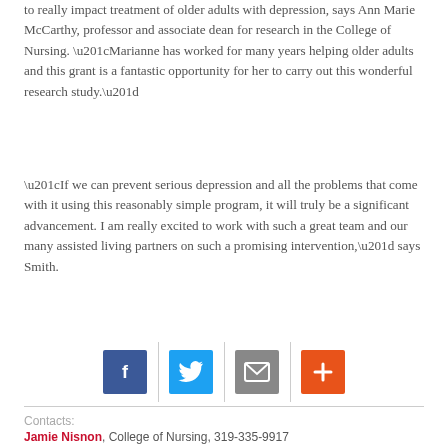to really impact treatment of older adults with depression, says Ann Marie McCarthy, professor and associate dean for research in the College of Nursing. “Marianne has worked for many years helping older adults and this grant is a fantastic opportunity for her to carry out this wonderful research study.”
“If we can prevent serious depression and all the problems that come with it using this reasonably simple program, it will truly be a significant advancement. I am really excited to work with such a great team and our many assisted living partners on such a promising intervention,” says Smith.
[Figure (infographic): Social sharing icons: Facebook (blue), Twitter (light blue), Email (gray), Plus/Share (orange-red), separated by vertical dividers]
Contacts:
Jamie Nisnon, College of Nursing, 319-335-9917